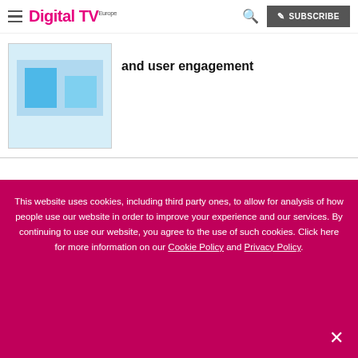Digital TV Europe — SUBSCRIBE
and user engagement
[Figure (illustration): Blue/white placeholder image for an article]
Interested in the Media & Entertainment Leaders Summit?
[Figure (photo): Save the date! Media & Entertainment Leaders Summit 2022 event banner with dark auditorium background]
This website uses cookies, including third party ones, to allow for analysis of how people use our website in order to improve your experience and our services. By continuing to use our website, you agree to the use of such cookies. Click here for more information on our Cookie Policy and Privacy Policy.